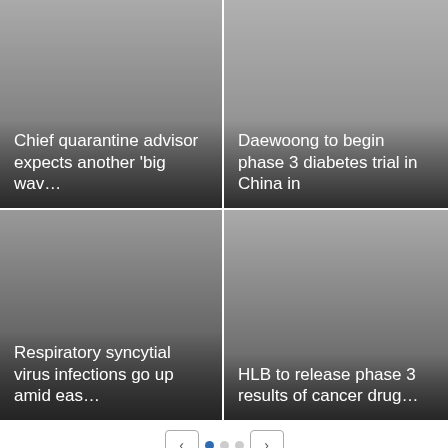[Figure (screenshot): Grid of 4 news thumbnail cards with dark gradient overlays and white text titles]
Chief quarantine advisor expects another 'big wav…
Daewoong to begin phase 3 diabetes trial in China in
Respiratory syncytial virus infections go up amid eas…
HLB to release phase 3 results of cancer drug…
News That You Haven't Seen
HLB to release phase 3 results of cancer drug candidate at ESMO 2022
Biogen gives up releasing Alzheimer's drug Aduhelm in Korea